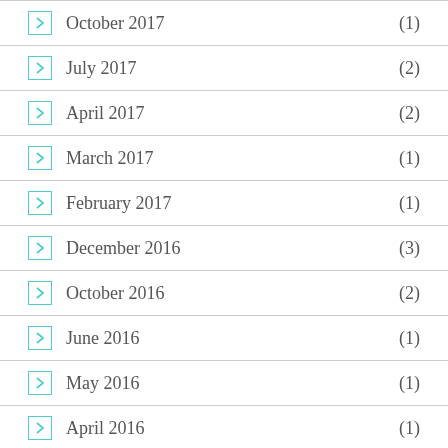October 2017 (1)
July 2017 (2)
April 2017 (2)
March 2017 (1)
February 2017 (1)
December 2016 (3)
October 2016 (2)
June 2016 (1)
May 2016 (1)
April 2016 (1)